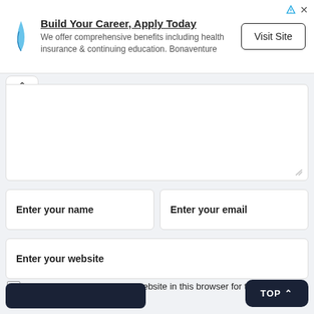[Figure (infographic): Advertisement banner: logo icon on left, title 'Build Your Career, Apply Today', body text about benefits, and 'Visit Site' button on right. Ad indicator icons top right.]
Build Your Career, Apply Today
We offer comprehensive benefits including health insurance & continuing education. Bonaventure
Visit Site
^
Enter your name
Enter your email
Enter your website
Save my name, email, and website in this browser for the next time I comment.
TOP ^